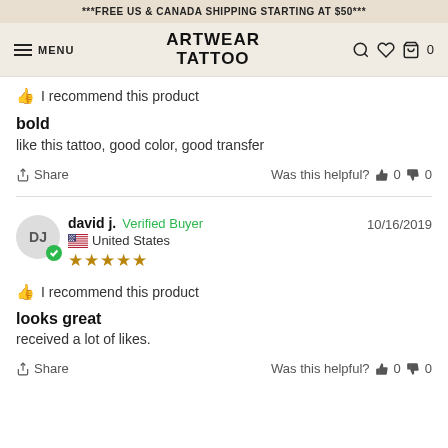***FREE US & CANADA SHIPPING STARTING AT $50***
ARTWEAR TATTOO — MENU — navigation icons
I recommend this product
bold
like this tattoo, good color, good transfer
Share  Was this helpful? 0  0
david j. Verified Buyer  10/16/2019  United States  ★★★★★
I recommend this product
looks great
received a lot of likes.
Share  Was this helpful? 0  0